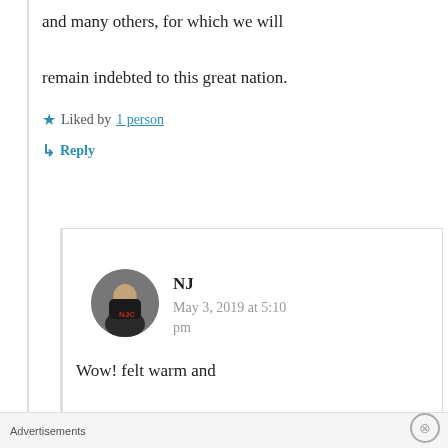and many others, for which we will remain indebted to this great nation.
★ Liked by 1 person
↳ Reply
NJ
May 3, 2019 at 5:10 pm
Wow! felt warm and fuzzy, reading your comment. Stay happy
Advertisements